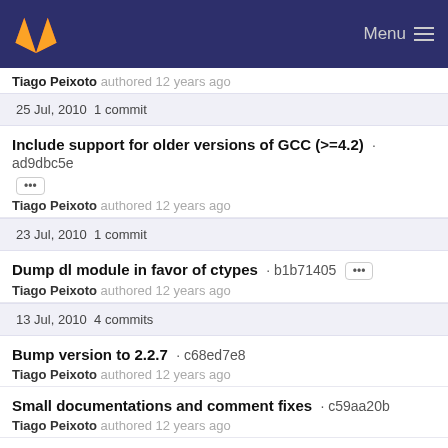GitLab logo | Menu
Tiago Peixoto authored 12 years ago
25 Jul, 2010 1 commit
Include support for older versions of GCC (>=4.2) · ad9dbc5e
Tiago Peixoto authored 12 years ago
23 Jul, 2010 1 commit
Dump dl module in favor of ctypes · b1b71405
Tiago Peixoto authored 12 years ago
13 Jul, 2010 4 commits
Bump version to 2.2.7 · c68ed7e8
Tiago Peixoto authored 12 years ago
Small documentations and comment fixes · c59aa20b
Tiago Peixoto authored 12 years ago